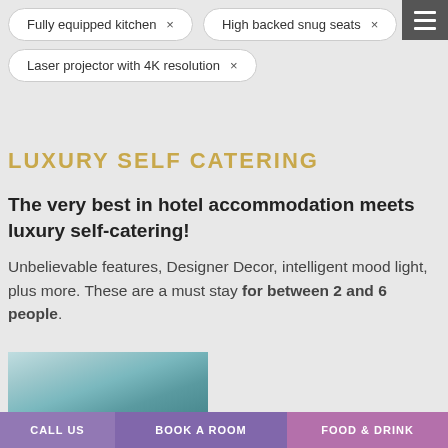Fully equipped kitchen ×
High backed snug seats ×
Laser projector with 4K resolution ×
LUXURY SELF CATERING
The very best in hotel accommodation meets luxury self-catering!
Unbelievable features, Designer Decor, intelligent mood light, plus more. These are a must stay for between 2 and 6 people.
[Figure (photo): Interior photo of a luxury hotel/self-catering accommodation room with blue mood lighting on the ceiling]
CALL US
BOOK A ROOM
FOOD & DRINK